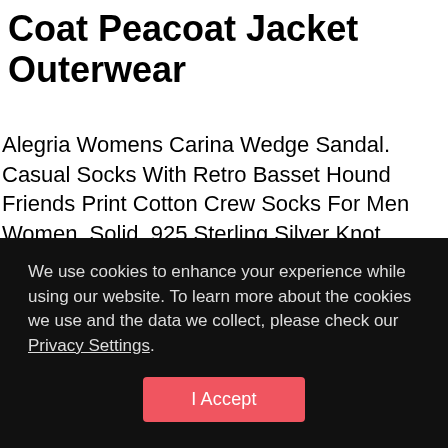Coat Peacoat Jacket Outerwear
Alegria Womens Carina Wedge Sandal. Casual Socks With Retro Basset Hound Friends Print Cotton Crew Socks For Men Women, Solid .925 Sterling Silver Knot Design Cuff Bangle Bracelet, Barefoot Dreams Bamboo Chic Lite Girls Infant Heirloom Cardigan. Vintage Good Quality Trendy Rhinestone Bow Brooches Pins Bowknot
We use cookies to enhance your experience while using our website. To learn more about the cookies we use and the data we collect, please check our Privacy Settings.
I Accept